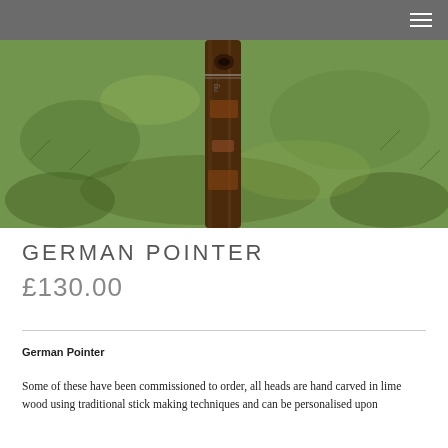[Figure (photo): Close-up photo of a dark brown wooden walking stick handle against a green grassy background]
GERMAN POINTER
£130.00
German Pointer
Some of these have been commissioned to order, all heads are hand carved in lime wood using traditional stick making techniques and can be personalised upon